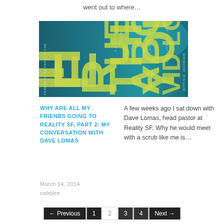went out to where…
[Figure (photo): Book cover showing 'The Truest Thing About You' by David Lomas, teal/dark background with vertical text spelling out title letters]
WHY ARE ALL MY FRIENDS GOING TO REALITY SF, PART 2: MY CONVERSATION WITH DAVE LOMAS
A few weeks ago I sat down with Dave Lomas, head pastor at Reality SF. Why he would meet with a scrub like me is…
March 14, 2014
natejlee
← Previous  1  2  3  4  Next →